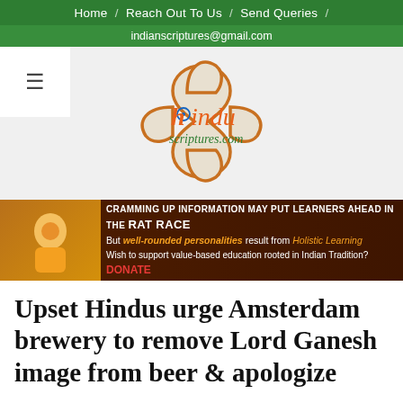Home / Reach Out To Us / Send Queries /
indianscriptures@gmail.com
[Figure (logo): Hindu Scriptures .com logo — ornate quatrefoil shape in orange outline with 'hindu scriptures.com' text inside, 'h' containing a blue Ashoka chakra, 'indu' in orange, 'scriptures.com' in green]
[Figure (infographic): Advertisement banner: CRAMMING UP INFORMATION MAY PUT LEARNERS AHEAD IN THE RAT RACE / But well-rounded personalities result from Holistic Learning / Wish to support value-based education rooted in Indian Tradition? DONATE]
Upset Hindus urge Amsterdam brewery to remove Lord Ganesh image from beer & apologize
IN: EUROPE NEWS / WITH: 0 COMMENTS